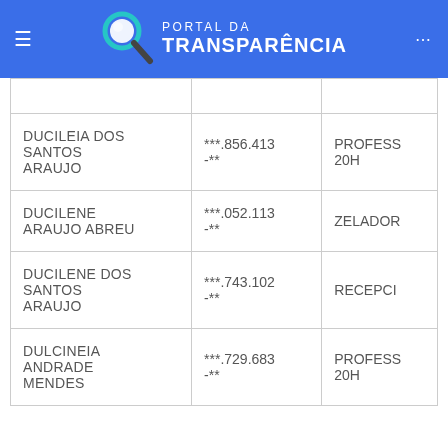PORTAL DA TRANSPARÊNCIA
| Nome | CPF | Cargo |
| --- | --- | --- |
| DUCILEIA DOS SANTOS ARAUJO | ***.856.413-** | PROFESS 20H |
| DUCILENE ARAUJO ABREU | ***.052.113-** | ZELADOR |
| DUCILENE DOS SANTOS ARAUJO | ***.743.102-** | RECEPCIO |
| DULCINEIA ANDRADE MENDES | ***.729.683-** | PROFESS 20H |